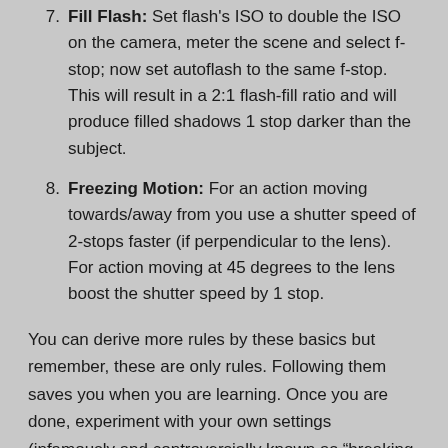Fill Flash: Set flash's ISO to double the ISO on the camera, meter the scene and select f-stop; now set autoflash to the same f-stop. This will result in a 2:1 flash-fill ratio and will produce filled shadows 1 stop darker than the subject.
Freezing Motion: For an action moving towards/away from you use a shutter speed of 2-stops faster (if perpendicular to the lens). For action moving at 45 degrees to the lens boost the shutter speed by 1 stop.
You can derive more rules by these basics but remember, these are only rules. Following them saves you when you are learning. Once you are done, experiment with your own settings (infamously and controversially known as “breaking the rules”). Move around with your camera and toss the rules away.